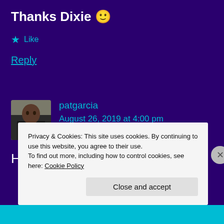Thanks Dixie 🙂
★ Like
Reply
[Figure (photo): Avatar photo of patgarcia, a person in a dark jacket]
patgarcia
August 26, 2019 at 4:00 pm
Hi,
Privacy & Cookies: This site uses cookies. By continuing to use this website, you agree to their use.
To find out more, including how to control cookies, see here: Cookie Policy
Close and accept